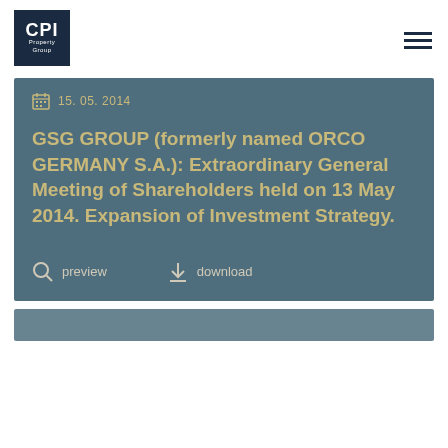CPI Property Group
15. 05. 2014
GSG GROUP (formerly named ORCO GERMANY S.A.): Extraordinary General Meeting of Shareholders held on 13 May 2014. Expansion of Investment Strategy.
preview   download